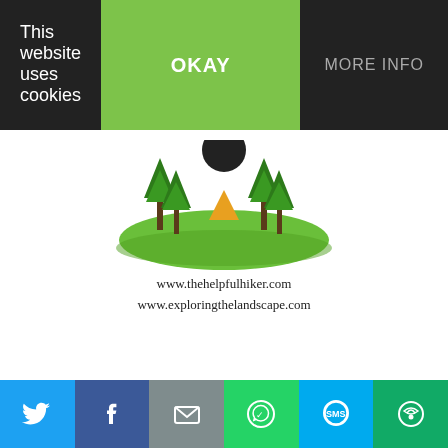This website uses cookies
OKAY
MORE INFO
[Figure (logo): The Helpful Hiker website logo: a green oval landscape with palm trees and a bird, with URLs www.thehelpfulhiker.com and www.exploringthelandscape.com]
<a
href="https://thehelpfulhiker.c
om/" target="_blank"
[Figure (screenshot): Social share bar with Twitter, Facebook, Email, WhatsApp, SMS, and More buttons]